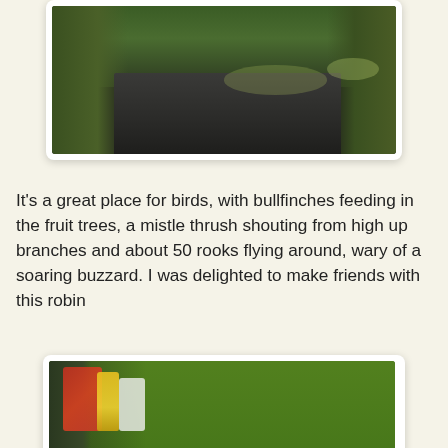[Figure (photo): Outdoor path or driveway flanked by hedges and trees, viewed from above, dark tarmac surface visible, green foliage on both sides, taken in winter/autumn light]
It's a great place for birds, with bullfinches feeding in the fruit trees, a mistle thrush shouting from high up branches and about 50 rooks flying around, wary of a soaring buzzard. I was delighted to make friends with this robin
[Figure (photo): A robin redbreast perched on top of a metal grave marker or ornament in a cemetery. Green grass in background, flowers and grave decorations visible on left. The robin has distinctive orange-red breast.]
There was also a good amount of moss on walls and